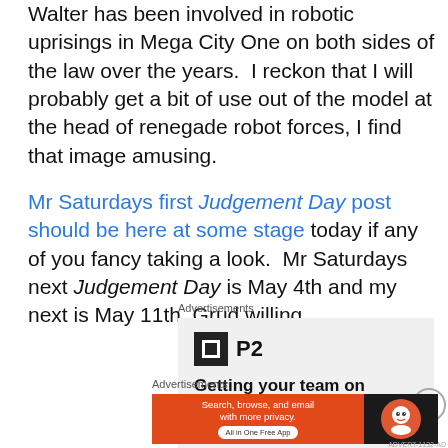Walter has been involved in robotic uprisings in Mega City One on both sides of the law over the years. I reckon that I will probably get a bit of use out of the model at the head of renegade robot forces, I find that image amusing.

Mr Saturdays first Judgement Day post should be here at some stage today if any of you fancy taking a look. Mr Saturdays next Judgement Day is May 4th and my next is May 11th, Grud willing.
Advertisements
[Figure (illustration): P2 advertisement showing P2 logo and text 'Getting your team on the same page is easy']
Advertisements
[Figure (illustration): DuckDuckGo advertisement: 'Search, browse, and email with more privacy. All in One Free App']